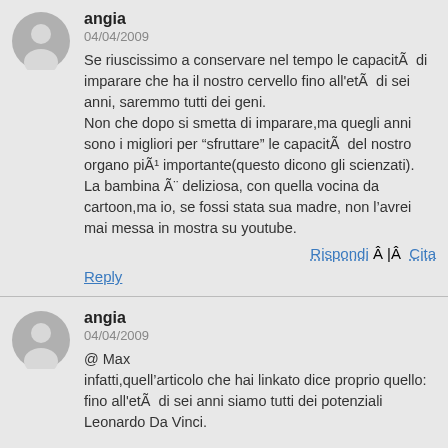angia
04/04/2009
Se riuscissimo a conservare nel tempo le capacitÃ  di imparare che ha il nostro cervello fino all'etÃ  di sei anni, saremmo tutti dei geni.
Non che dopo si smetta di imparare,ma quegli anni sono i migliori per “sfruttare” le capacitÃ  del nostro organo piÃ¹ importante(questo dicono gli scienzati).
La bambina Ã¯¿½ deliziosa, con quella vocina da cartoon,ma io, se fossi stata sua madre, non l’avrei mai messa in mostra su youtube.
Rispondi Â |Â  Cita
Reply
angia
04/04/2009
@ Max
inafatti,quell'articolo che hai linkato dice proprio quello: fino all'etÃ  di sei anni siamo tutti dei potenziali Leonardo Da Vinci.